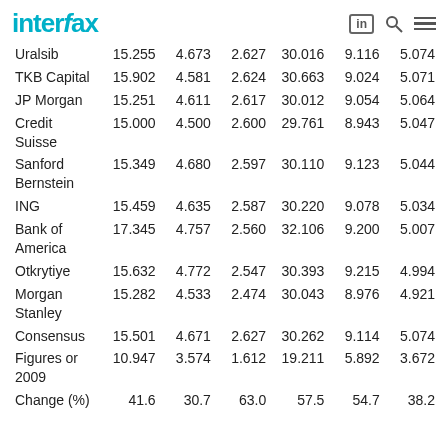Interfax
|  |  |  |  |  |  |  |
| --- | --- | --- | --- | --- | --- | --- |
| Uralsib | 15.255 | 4.673 | 2.627 | 30.016 | 9.116 | 5.074 |
| TKB Capital | 15.902 | 4.581 | 2.624 | 30.663 | 9.024 | 5.071 |
| JP Morgan | 15.251 | 4.611 | 2.617 | 30.012 | 9.054 | 5.064 |
| Credit Suisse | 15.000 | 4.500 | 2.600 | 29.761 | 8.943 | 5.047 |
| Sanford Bernstein | 15.349 | 4.680 | 2.597 | 30.110 | 9.123 | 5.044 |
| ING | 15.459 | 4.635 | 2.587 | 30.220 | 9.078 | 5.034 |
| Bank of America | 17.345 | 4.757 | 2.560 | 32.106 | 9.200 | 5.007 |
| Otkrytiye | 15.632 | 4.772 | 2.547 | 30.393 | 9.215 | 4.994 |
| Morgan Stanley | 15.282 | 4.533 | 2.474 | 30.043 | 8.976 | 4.921 |
| Consensus | 15.501 | 4.671 | 2.627 | 30.262 | 9.114 | 5.074 |
| Figures or 2009 | 10.947 | 3.574 | 1.612 | 19.211 | 5.892 | 3.672 |
| Change (%) | 41.6 | 30.7 | 63.0 | 57.5 | 54.7 | 38.2 |